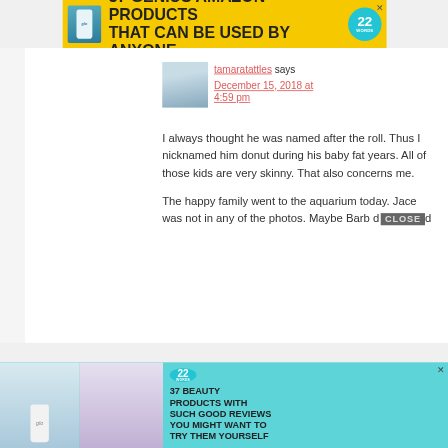[Figure (screenshot): Yellow advertisement banner: '37 GENIUS AMAZON PRODUCTS THAT CAN BE USED BY ANYONE' with product bottle image and '22 Words' teal badge]
tamaratattles says
December 15, 2018 at 4:59 pm
I always thought he was named after the roll. Thus I nicknamed him donut during his baby fat years. All of those kids are very skinny. That also concerns me.

The happy family went to the aquarium today. Jace was not in any of the photos. Maybe Barb d
[Figure (screenshot): Close button overlay partially covering text]
[Figure (screenshot): Teal advertisement banner: '37 BEAUTY PRODUCTS WITH SUCH GOOD REVIEWS YOU MIGHT WANT TO TRY THEM YOURSELF' with '22 Words' badge and product/model photos]